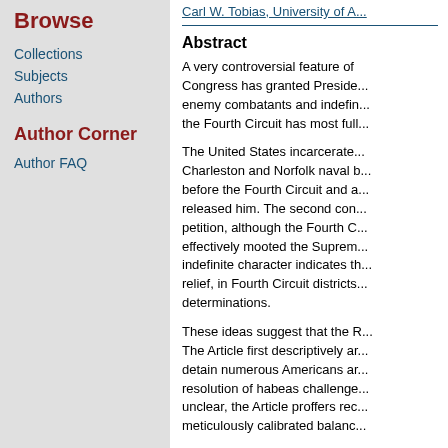Browse
Collections
Subjects
Authors
Author Corner
Author FAQ
Carl W. Tobias, University of A...
Abstract
A very controversial feature of ... Congress has granted Preside... enemy combatants and indefin... the Fourth Circuit has most full...
The United States incarcerated... Charleston and Norfolk naval b... before the Fourth Circuit and a... released him. The second con... petition, although the Fourth C... effectively mooted the Suprem... indefinite character indicates th... relief, in Fourth Circuit districts... determinations.
These ideas suggest that the R... The Article first descriptively ar... detain numerous Americans ar... resolution of habeas challenge... unclear, the Article proffers rec... meticulously calibrated balanc...
Document Type
Article